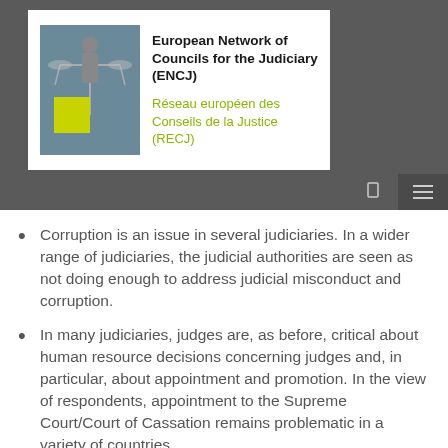European Network of Councils for the Judiciary (ENCJ) | Réseau européen des Conseils de la Justice (RECJ)
Corruption is an issue in several judiciaries. In a wider range of judiciaries, the judicial authorities are seen as not doing enough to address judicial misconduct and corruption.
In many judiciaries, judges are, as before, critical about human resource decisions concerning judges and, in particular, about appointment and promotion. In the view of respondents, appointment to the Supreme Court/Court of Cassation remains problematic in a variety of countries.
In most judiciaries, judges feel inappropriate pressure from the (social) media at case level. Many of them feel that their independence is not respected by/on the (social) media.